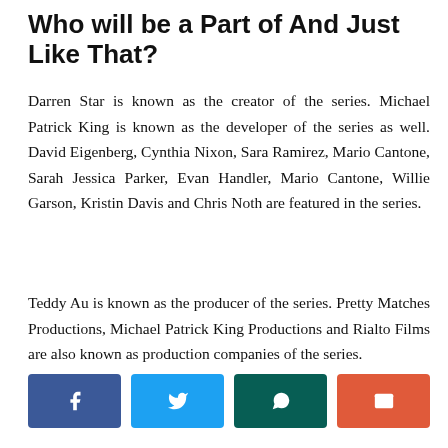Who will be a Part of And Just Like That?
Darren Star is known as the creator of the series. Michael Patrick King is known as the developer of the series as well. David Eigenberg, Cynthia Nixon, Sara Ramirez, Mario Cantone, Sarah Jessica Parker, Evan Handler, Mario Cantone, Willie Garson, Kristin Davis and Chris Noth are featured in the series.
Teddy Au is known as the producer of the series. Pretty Matches Productions, Michael Patrick King Productions and Rialto Films are also known as production companies of the series.
[Figure (other): Social share buttons: Facebook (blue), Twitter (light blue), WhatsApp (dark green), Email (red-orange)]